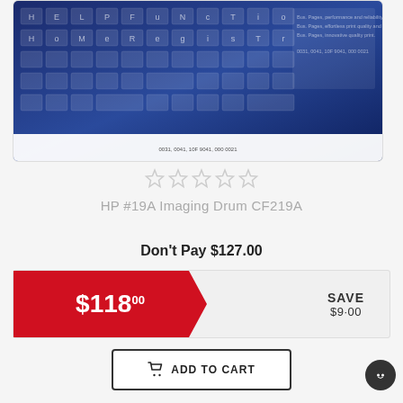[Figure (photo): Product image of HP #19A Imaging Drum CF219A showing a blue keyboard background with text overlay]
[Figure (other): Five empty/gray star rating icons indicating no reviews]
HP #19A Imaging Drum CF219A
Don't Pay $127.00
$118.00
SAVE $9.00
ADD TO CART